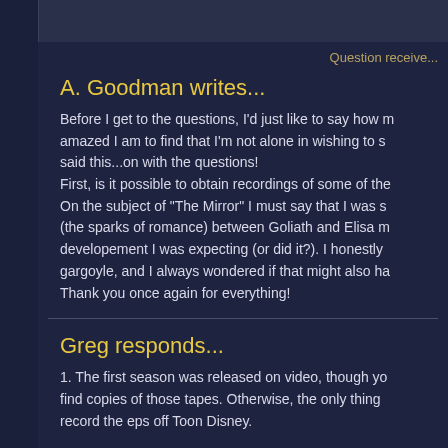Question receive...
A. Goodman writes...
Before I get to the questions, I'd just like to say how m amazed I am to find that I'm not alone in wishing to s said this...on with the questions! First, is it possible to obtain recordings of some of the On the subject of "The Mirror" I must say that I was s (the sparks of romance) between Goliath and Elisa m developement I was expecting (or did it?). I honestly gargoyle, and I always wondered if that might also ha Thank you once again for everything!
Greg responds...
1. The first season was released on video, though yo find copies of those tapes. Otherwise, the only thing record the eps off Toon Disney.